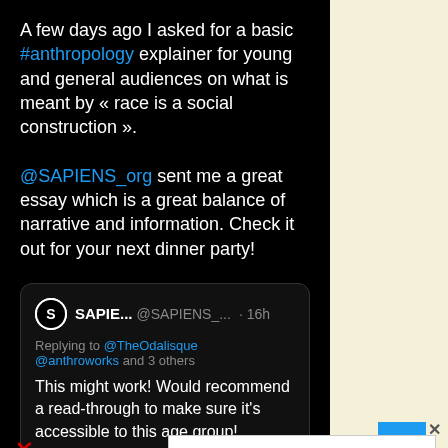A few days ago I asked for a basic #anthropology explainer for young and general audiences on what is meant by « race is a social construction ».

@SAPIENS_org sent me a great essay which is a great balance of narrative and information. Check it out for your next dinner party!
[Figure (screenshot): Quoted tweet from SAPIE... @SAPIENS_... 16h — Replying to @TheOdalisque @anthroworks and 3 others — This might work! Would recommend a read-through to make sure it's accessible to this age group! ...]
[Figure (photo): Beats by Dre earphones advertisement banner showing multiple colored earphones with BUY NOW button]